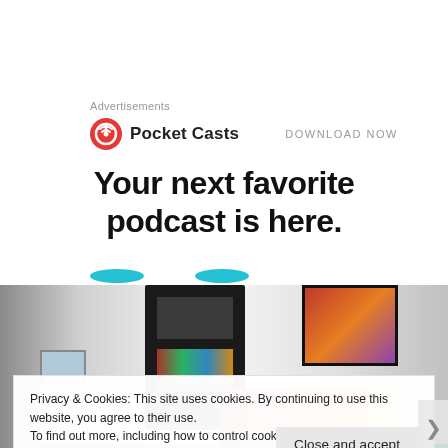Advertisements
[Figure (screenshot): Pocket Casts advertisement banner with logo and 'DOWNLOAD NOW' link and headline 'Your next favorite podcast is here.' with teal/blue accent bars]
[Figure (photo): Interior room photo showing a dark bookcase with books and colorful spines, wall art on right side, small framed picture on left wall, and a glowing orange/red object at bottom right]
Privacy & Cookies: This site uses cookies. By continuing to use this website, you agree to their use.
To find out more, including how to control cookies, see here: Cookie Policy
Close and accept